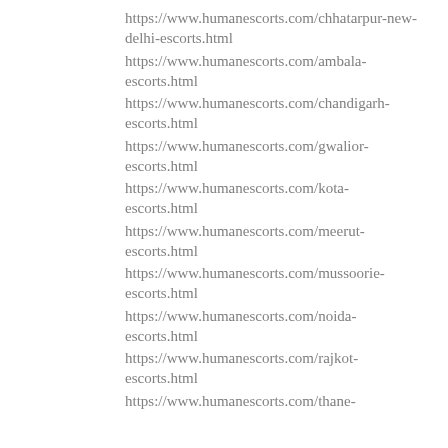https://www.humanescorts.com/chhatarpur-new-delhi-escorts.html
https://www.humanescorts.com/ambala-escorts.html
https://www.humanescorts.com/chandigarh-escorts.html
https://www.humanescorts.com/gwalior-escorts.html
https://www.humanescorts.com/kota-escorts.html
https://www.humanescorts.com/meerut-escorts.html
https://www.humanescorts.com/mussoorie-escorts.html
https://www.humanescorts.com/noida-escorts.html
https://www.humanescorts.com/rajkot-escorts.html
https://www.humanescorts.com/thane-